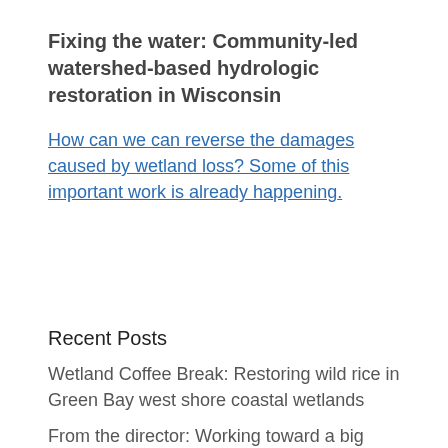Fixing the water: Community-led watershed-based hydrologic restoration in Wisconsin
How can we can reverse the damages caused by wetland loss? Some of this important work is already happening.
Recent Posts
Wetland Coffee Break: Restoring wild rice in Green Bay west shore coastal wetlands
From the director: Working toward a big vision, one project at a time.